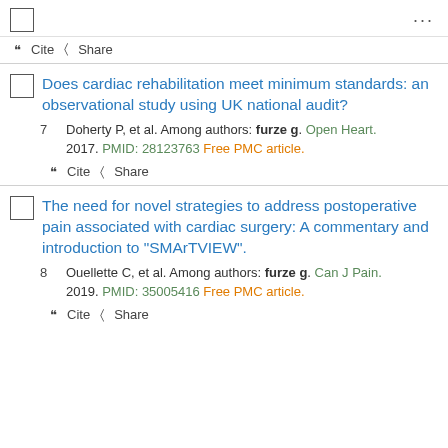Cite  Share
7 Does cardiac rehabilitation meet minimum standards: an observational study using UK national audit?
Doherty P, et al. Among authors: furze g. Open Heart. 2017. PMID: 28123763 Free PMC article.
Cite  Share
8 The need for novel strategies to address postoperative pain associated with cardiac surgery: A commentary and introduction to "SMArTVIEW".
Ouellette C, et al. Among authors: furze g. Can J Pain. 2019. PMID: 35005416 Free PMC article.
Cite  Share